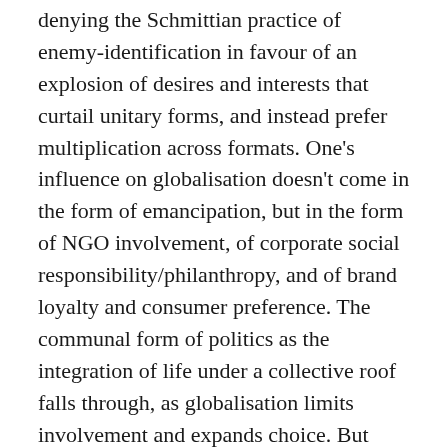denying the Schmittian practice of enemy-identification in favour of an explosion of desires and interests that curtail unitary forms, and instead prefer multiplication across formats. One's influence on globalisation doesn't come in the form of emancipation, but in the form of NGO involvement, of corporate social responsibility/philanthropy, and of brand loyalty and consumer preference. The communal form of politics as the integration of life under a collective roof falls through, as globalisation limits involvement and expands choice. But then where does the communal go?
It hasn't disappeared, and its forced-to-be-underground nature has produced all manner